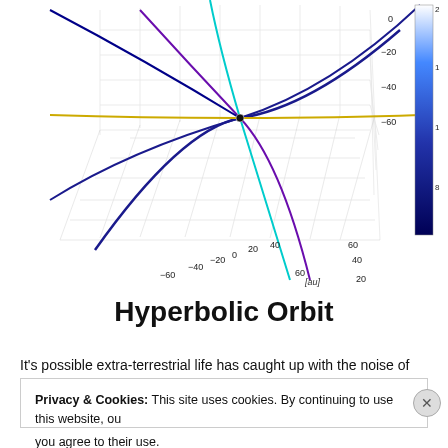[Figure (continuous-plot): 3D plot of a hyperbolic orbit trajectory with axes labeled in astronomical units [au]. The plot shows multiple colored lines (blue, cyan, yellow, purple) converging near a central point with a small black dot. The axes range from approximately -60 to 60 au on the horizontal axes and -80 to 0 on the vertical axis. A color bar is visible on the right edge.]
Hyperbolic Orbit
It's possible extra-terrestrial life has caught up with the noise of e… found the latest instalment of Eastenders when Lofty has returned…
Privacy & Cookies: This site uses cookies. By continuing to use this website, you agree to their use. To find out more, including how to control cookies, see here: Cookie Policy